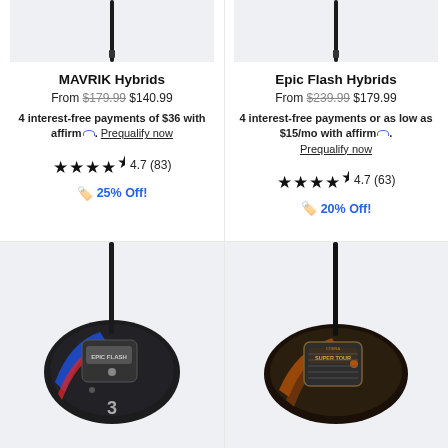[Figure (photo): Top portion of MAVRIK Hybrid golf club shaft on light gray background]
[Figure (photo): Top portion of Epic Flash Hybrid golf club shaft on light gray background]
MAVRIK Hybrids
Epic Flash Hybrids
From $179.99 $140.99
From $239.99 $179.99
4 interest-free payments of $36 with affirm. Prequalify now
4 interest-free payments or as low as $15/mo with affirm. Prequalify now
4.7 (83)
4.7 (63)
25% Off!
20% Off!
[Figure (photo): Epic Flash hybrid golf club head, black with blue and red accents, number 3, viewed from above-front angle]
[Figure (photo): Cobra Super Tour hybrid golf club head, dark with copper/gold accents, viewed from above-front angle]